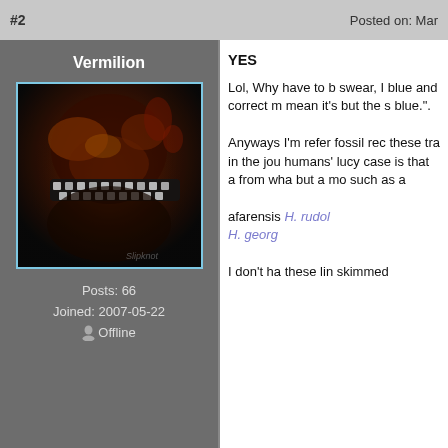#2    Posted on: Mar
Vermilion
[Figure (photo): Avatar image of a dark, horror-themed photo with a zipper-mouth mask (Slipknot album art style), with high contrast reds, oranges, and blacks.]
Posts: 66
Joined: 2007-05-22
 Offline
YES

Lol, Why have to be swear, I blue and correct m mean it's but the s blue.".

Anyways I'm refer fossil rec these tra in the jou humans' lucy case is that a from wha but a mo such as a

afarensis H. rudol H. georg

I don't ha these lin skimmed